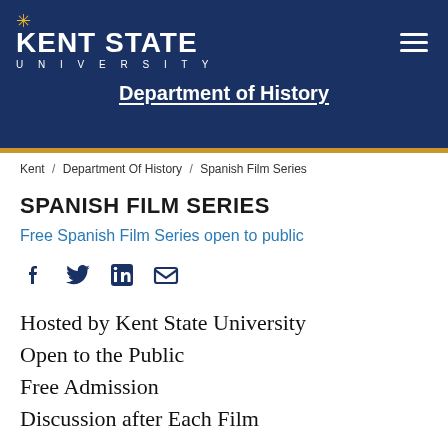[Figure (logo): Kent State University logo with gold sunburst above text]
Department of History
Kent / Department Of History / Spanish Film Series
SPANISH FILM SERIES
Free Spanish Film Series open to public
[Figure (infographic): Social media sharing icons: Facebook, Twitter, LinkedIn, Email]
Hosted by Kent State University
Open to the Public
Free Admission
Discussion after Each Film